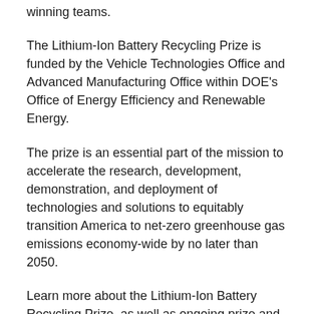winning teams.
The Lithium-Ion Battery Recycling Prize is funded by the Vehicle Technologies Office and Advanced Manufacturing Office within DOE's Office of Energy Efficiency and Renewable Energy.
The prize is an essential part of the mission to accelerate the research, development, demonstration, and deployment of technologies and solutions to equitably transition America to net-zero greenhouse gas emissions economy-wide by no later than 2050.
Learn more about the Lithium-Ion Battery Recycling Prize, as well as ongoing prize and